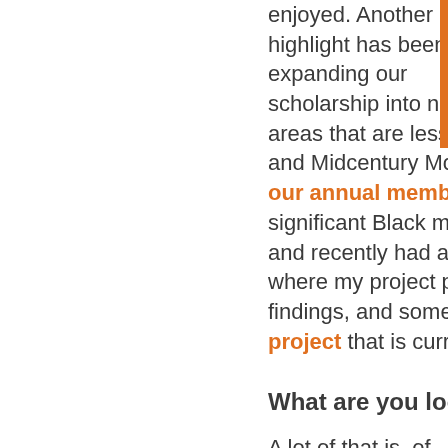enjoyed. Another highlight has been expanding our scholarship into new areas that are less recognized and Midcentury Modern Architecture. our annual members meet significant Black members and recently had a virtual event where my project partner La findings, and some interesting project that is currently under
What are you looking fo
A lot of that is, of course, up in the air due to the pandemic but generally speaking, I'm really looking forward to more in